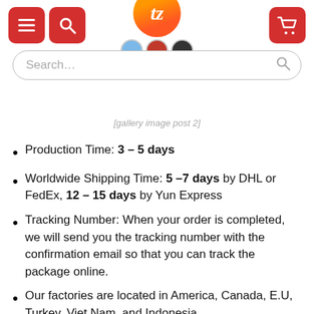[website header with logo, search bar, navigation icons]
[gallery image post 2]
Production Time: 3 – 5 days
Worldwide Shipping Time: 5 –7 days by DHL or FedEx, 12 – 15 days by Yun Express
Tracking Number: When your order is completed, we will send you the tracking number with the confirmation email so that you can track the package online.
Our factories are located in America, Canada, E.U, Turkey, Viet Nam, and Indonesia.
If you find the delivered product: – Damaged due to production quality (missing button,